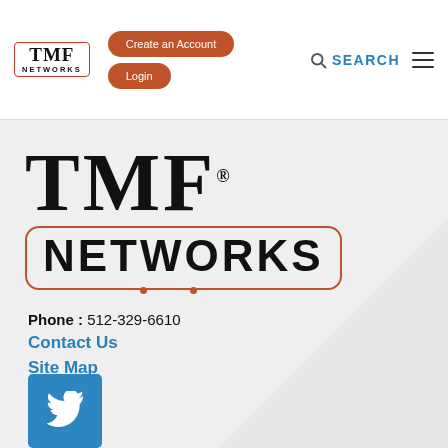[Figure (logo): TMF Networks header logo — small serif TMF above NETWORKS in a red-bordered box]
Create an Account
Login
SEARCH
[Figure (logo): Large TMF NETWORKS logo — large serif TMF text above NETWORKS in an orange-bordered rounded rectangle with decorative dots]
Phone : 512-329-6610
Contact Us
Site Map
[Figure (logo): Twitter bird icon in a blue square button]